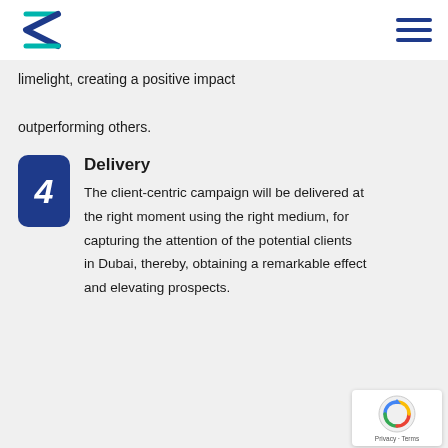limelight, creating a positive impact outperforming others.
Delivery
The client-centric campaign will be delivered at the right moment using the right medium, for capturing the attention of the potential clients in Dubai, thereby, obtaining a remarkable effect and elevating prospects.